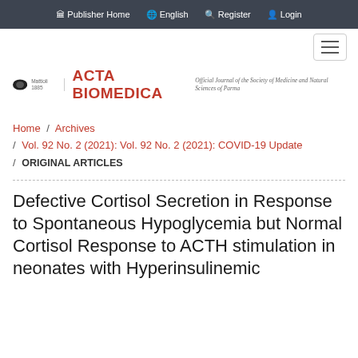Publisher Home  English  Register  Login
[Figure (logo): Acta Biomedica journal logo with Mattioli 1885 publisher logo and tagline: Official Journal of the Society of Medicine and Natural Sciences of Parma]
Home / Archives / Vol. 92 No. 2 (2021): Vol. 92 No. 2 (2021): COVID-19 Update / ORIGINAL ARTICLES
Defective Cortisol Secretion in Response to Spontaneous Hypoglycemia but Normal Cortisol Response to ACTH stimulation in neonates with Hyperinsulinemic